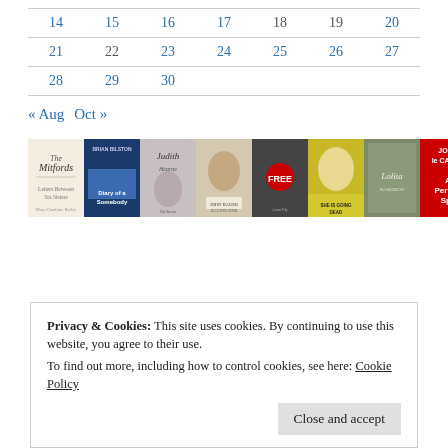| 14 | 15 | 16 | 17 | 18 | 19 | 20 |
| 21 | 22 | 23 | 24 | 25 | 26 | 27 |
| 28 | 29 | 30 |  |  |  |  |
« Aug   Oct »
[Figure (illustration): A horizontal strip of book covers including The Mitfords, Diary of a Somebody, Judith, a portrait painting cover, a book with FREE label, a blonde woman cover, Lolita, and A Perfect Spy by John le Carré]
Privacy & Cookies: This site uses cookies. By continuing to use this website, you agree to their use. To find out more, including how to control cookies, see here: Cookie Policy